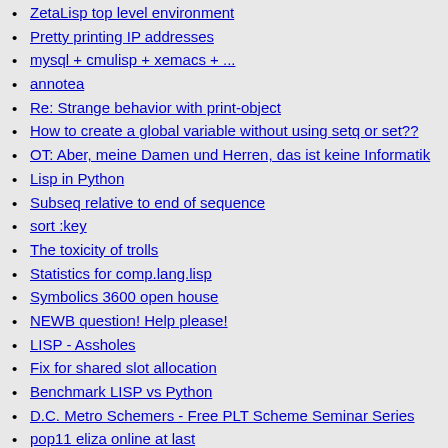ZetaLisp top level environment
Pretty printing IP addresses
mysql + cmulisp + xemacs + ...
annotea
Re: Strange behavior with print-object
How to create a global variable without using setq or set??
OT: Aber, meine Damen und Herren, das ist keine Informatik
Lisp in Python
Subseq relative to end of sequence
sort :key
The toxicity of trolls
Statistics for comp.lang.lisp
Symbolics 3600 open house
NEWB question! Help please!
LISP - Assholes
Fix for shared slot allocation
Benchmark LISP vs Python
D.C. Metro Schemers - Free PLT Scheme Seminar Series
pop11 eliza online at last
ECL v0.6 released
if x in (list 1 2 3)
friday
WITH-HASH-TABLE-ITERATOR and (SETF GETHASH)
LISP - PERS - John McCarthy